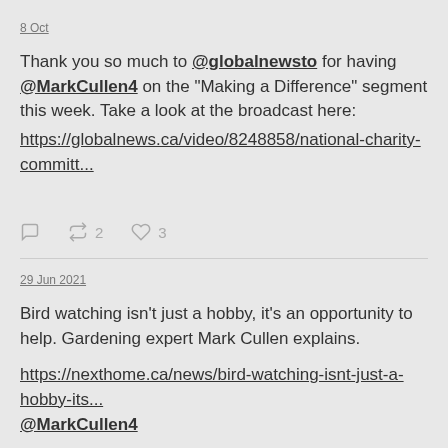8 Oct
Thank you so much to @globalnewsto for having @MarkCullen4 on the "Making a Difference" segment this week. Take a look at the broadcast here: https://globalnews.ca/video/8248858/national-charity-committ...
reply 0  retweet 2  like 3
29 Jun 2021
Bird watching isn't just a hobby, it's an opportunity to help. Gardening expert Mark Cullen explains.
https://nexthome.ca/news/bird-watching-isnt-just-a-hobby-its...
@MarkCullen4